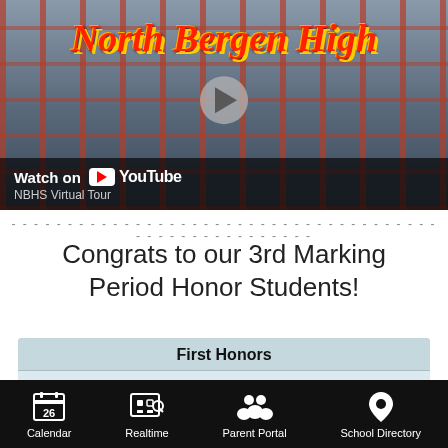[Figure (screenshot): YouTube video thumbnail showing North Bergen High School building exterior with text 'Welcome to North Bergen High' in red italic letters, with a play button and YouTube watch-on overlay. Caption reads 'NBHS Virtual Tour'.]
----------------------------------------------------------------------------------------------------
Congrats to our 3rd Marking Period Honor Students!
| First Honors |  |  |
| --- | --- | --- |
| Sergio Alvarado | Martina Munoz | Sophia Simmonds |
| Anne Bonde | Yoli Palma | Walfred Tuu |
Calendar  Realtime  Parent Portal  School Directory